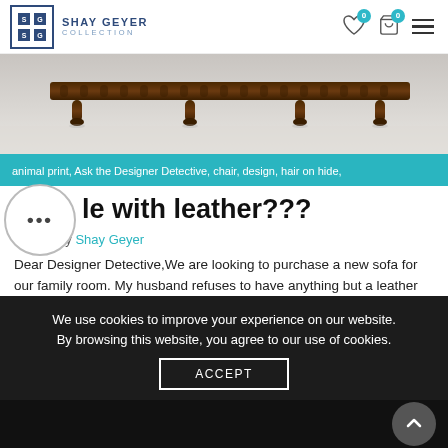SHAY GEYER COLLECTION
[Figure (photo): Ornate dark wood bench with turned legs photographed against a light background, cropped to show the legs and lower structure]
animal print, Ask the Designer Detective, chair, design, hair on hide,
le with leather???
Posted by Shay Geyer
Dear Designer Detective,We are looking to purchase a new sofa for our family room.  My husband refuses to have anything but a leather sofa.  I really want the room to feel like we took…
Read More
We use cookies to improve your experience on our website. By browsing this website, you agree to our use of cookies.
ACCEPT